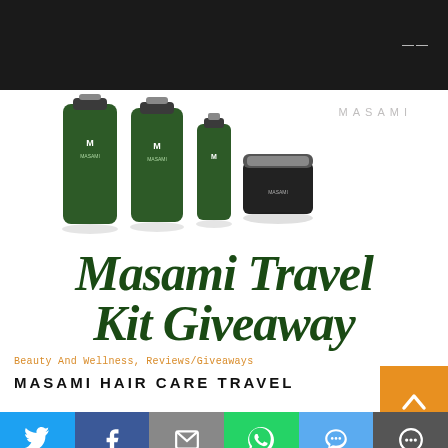[Figure (photo): Four MASAMI hair care product bottles and a jar arranged in a row against a white background. Three tall dark green bottles of varying sizes and one small dark green bottle, plus a black jar with silver lid. MASAMI logo text in light gray upper right.]
Masami Travel Kit Giveaway
Beauty And Wellness, Reviews/Giveaways
MASAMI HAIR CARE TRAVEL
[Figure (infographic): Social sharing bar with six buttons: Twitter (blue), Facebook (dark blue), Email/envelope (gray), WhatsApp (green), SMS (light blue), More (dark gray)]